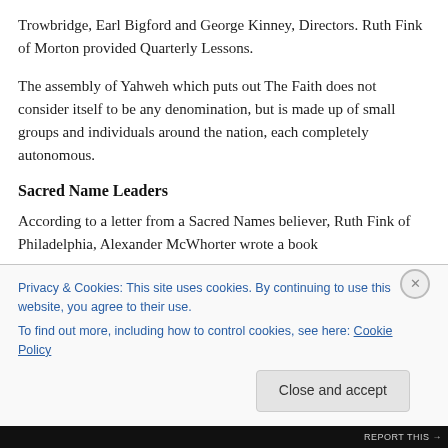Trowbridge, Earl Bigford and George Kinney, Directors. Ruth Fink of Morton provided Quarterly Lessons.
The assembly of Yahweh which puts out The Faith does not consider itself to be any denomination, but is made up of small groups and individuals around the nation, each completely autonomous.
Sacred Name Leaders
According to a letter from a Sacred Names believer, Ruth Fink of Philadelphia, Alexander McWhorter wrote a book
Privacy & Cookies: This site uses cookies. By continuing to use this website, you agree to their use.
To find out more, including how to control cookies, see here: Cookie Policy
REPORT THIS →